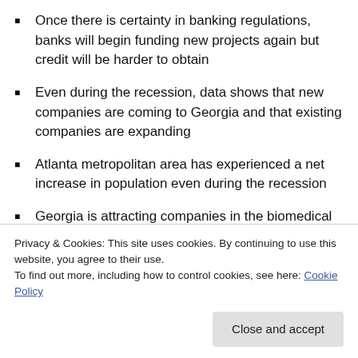Once there is certainty in banking regulations, banks will begin funding new projects again but credit will be harder to obtain
Even during the recession, data shows that new companies are coming to Georgia and that existing companies are expanding
Atlanta metropolitan area has experienced a net increase in population even during the recession
Georgia is attracting companies in the biomedical
Privacy & Cookies: This site uses cookies. By continuing to use this website, you agree to their use.
To find out more, including how to control cookies, see here: Cookie Policy